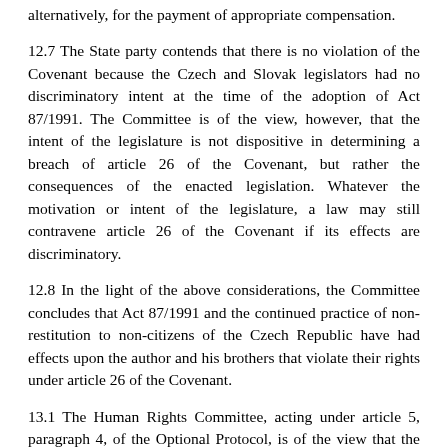alternatively, for the payment of appropriate compensation.
12.7 The State party contends that there is no violation of the Covenant because the Czech and Slovak legislators had no discriminatory intent at the time of the adoption of Act 87/1991. The Committee is of the view, however, that the intent of the legislature is not dispositive in determining a breach of article 26 of the Covenant, but rather the consequences of the enacted legislation. Whatever the motivation or intent of the legislature, a law may still contravene article 26 of the Covenant if its effects are discriminatory.
12.8 In the light of the above considerations, the Committee concludes that Act 87/1991 and the continued practice of non-restitution to non-citizens of the Czech Republic have had effects upon the author and his brothers that violate their rights under article 26 of the Covenant.
13.1 The Human Rights Committee, acting under article 5, paragraph 4, of the Optional Protocol, is of the view that the denial of restitution or compensation to the author and his brothers constitutes a violation of article 26 of the International Covenant on Civil and Political Rights.
13.2 In accordance with article 2, paragraph 3 (a), of the